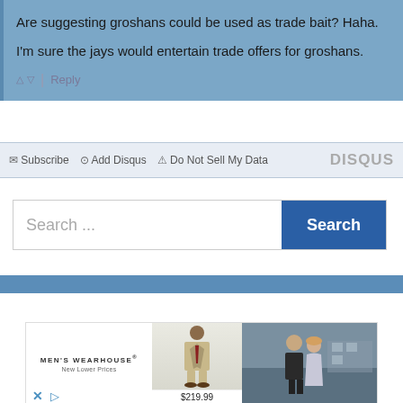Are suggesting groshans could be used as trade bait? Haha.

I'm sure the jays would entertain trade offers for groshans.
Subscribe  Add Disqus  Do Not Sell My Data  DISQUS
Search ...
[Figure (screenshot): Men's Wearhouse advertisement showing suit models, with price $219.99]
$219.99